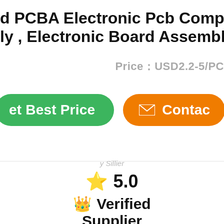d PCBA Electronic Pcb Components Assembly , Electronic Board Assembly
Price：USD2.2-5/PC
[Figure (screenshot): Green 'Get Best Price' button and orange 'Contact' button with envelope icon]
⭐ 5.0
👑 Verified Supplier